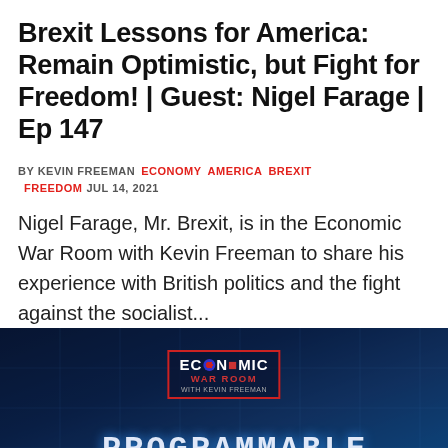Brexit Lessons for America: Remain Optimistic, but Fight for Freedom! | Guest: Nigel Farage | Ep 147
BY KEVIN FREEMAN  ECONOMY  AMERICA  BREXIT  FREEDOM  JUL 14, 2021
Nigel Farage, Mr. Brexit, is in the Economic War Room with Kevin Freeman to share his experience with British politics and the fight against the socialist...
[Figure (screenshot): Economic War Room branded thumbnail image with dark blue background showing 'ECONOMIC WAR ROOM' logo in red border, text '_PROGRAMMABLE' in monospace white/blue letters, and 'MONEY' in large bright blue letters at the bottom]